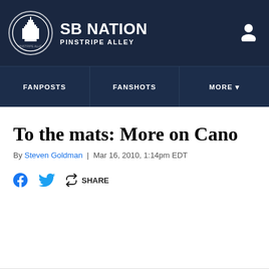SB NATION PINSTRIPE ALLEY
To the mats: More on Cano
By Steven Goldman | Mar 16, 2010, 1:14pm EDT
SHARE